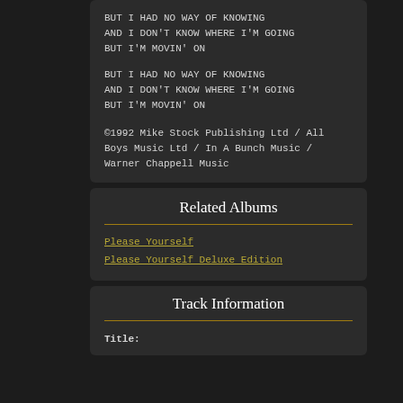BUT I HAD NO WAY OF KNOWING
AND I DON'T KNOW WHERE I'M GOING
BUT I'M MOVIN' ON

BUT I HAD NO WAY OF KNOWING
AND I DON'T KNOW WHERE I'M GOING
BUT I'M MOVIN' ON

©1992 Mike Stock Publishing Ltd / All Boys Music Ltd / In A Bunch Music / Warner Chappell Music
Related Albums
Please Yourself
Please Yourself Deluxe Edition
Track Information
Title: